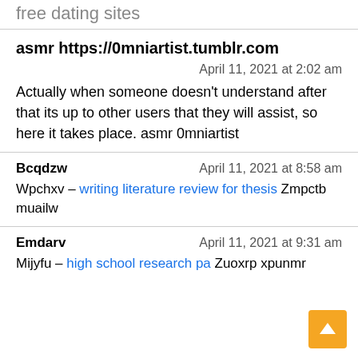free dating sites
asmr https://0mniartist.tumblr.com
April 11, 2021 at 2:02 am
Actually when someone doesn't understand after that its up to other users that they will assist, so here it takes place. asmr 0mniartist
Bcqdzw
April 11, 2021 at 8:58 am
Wpchxv – writing literature review for thesis Zmpctb muailw
Emdarv
April 11, 2021 at 9:31 am
Mijyfu – high school research pa Zuoxrp xpunmr